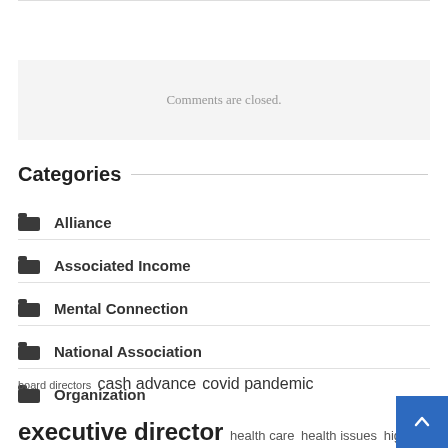Comments are closed.
Categories
Alliance
Associated Income
Mental Connection
National Association
Organization
board directors  cash advance  covid pandemic  executive director  health care  health issues  high school